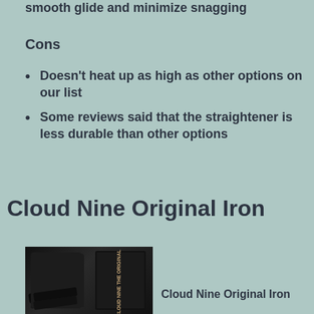smooth glide and minimize snagging
Cons
Doesn't heat up as high as other options on our list
Some reviews said that the straightener is less durable than other options
Cloud Nine Original Iron
[Figure (photo): Cloud Nine Original Iron product photo showing hair straightener, black pouch, and product box]
Cloud Nine Original Iron